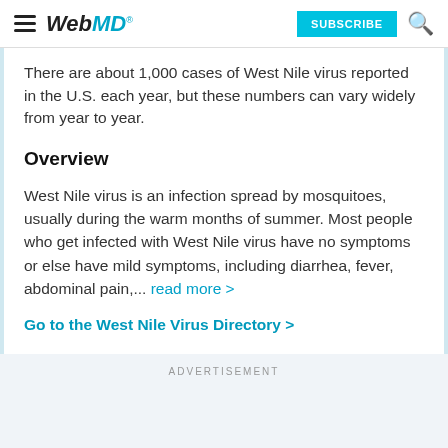WebMD — SUBSCRIBE
There are about 1,000 cases of West Nile virus reported in the U.S. each year, but these numbers can vary widely from year to year.
Overview
West Nile virus is an infection spread by mosquitoes, usually during the warm months of summer. Most people who get infected with West Nile virus have no symptoms or else have mild symptoms, including diarrhea, fever, abdominal pain,... read more >
Go to the West Nile Virus Directory >
ADVERTISEMENT